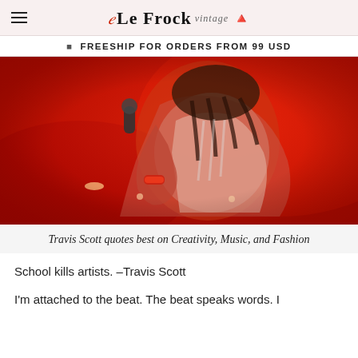Le Frock vintage
🔔 FREESHIP FOR ORDERS FROM 99 USD
[Figure (photo): A performer in a red-lit concert scene, holding a microphone, wearing a white t-shirt and red wristbands, shot from behind/side in dramatic red lighting.]
Travis Scott quotes best on Creativity, Music, and Fashion
School kills artists. –Travis Scott
I'm attached to the beat. The beat speaks words. I